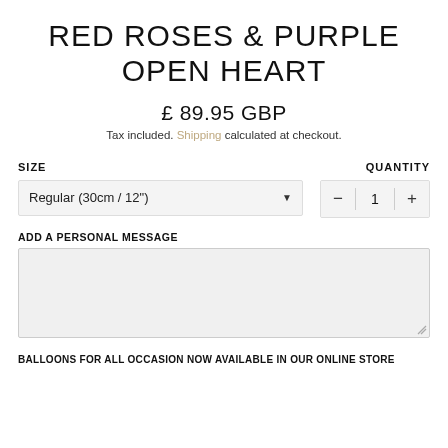RED ROSES & PURPLE OPEN HEART
£ 89.95 GBP
Tax included. Shipping calculated at checkout.
SIZE
QUANTITY
Regular (30cm / 12")
1
ADD A PERSONAL MESSAGE
BALLOONS FOR ALL OCCASION NOW AVAILABLE IN OUR ONLINE STORE